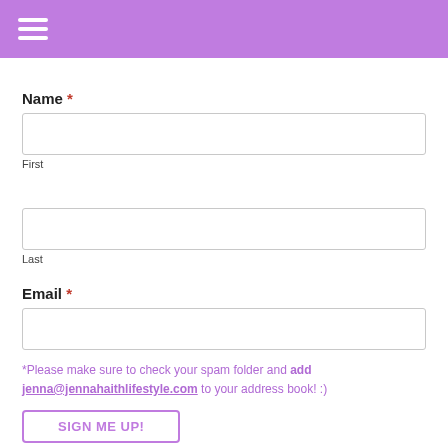Navigation menu (hamburger icon)
Name *
First
Last
Email *
*Please make sure to check your spam folder and add jenna@jennahaithlifestyle.com to your address book! :)
SIGN ME UP!